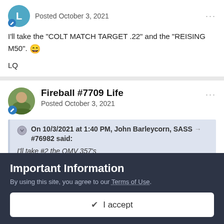Posted October 3, 2021
I'll take the "COLT MATCH TARGET .22" and the "REISING M50". 😄
LQ
Fireball #7709 Life
Posted October 3, 2021
On 10/3/2021 at 1:40 PM, John Barleycorn, SASS #76982 said:
I'll take #2 the OMV 357's
Important Information
By using this site, you agree to our Terms of Use.
✔ I accept